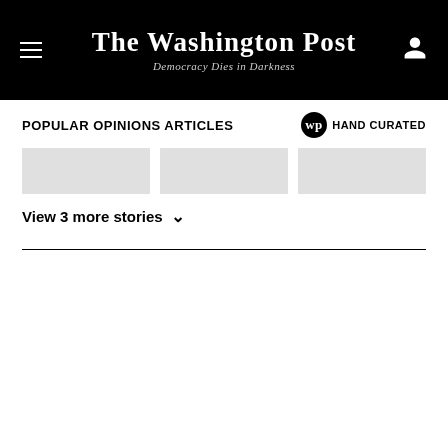The Washington Post — Democracy Dies in Darkness
POPULAR OPINIONS ARTICLES
HAND CURATED
[Figure (other): Three gray placeholder thumbnail images in a row]
View 3 more stories